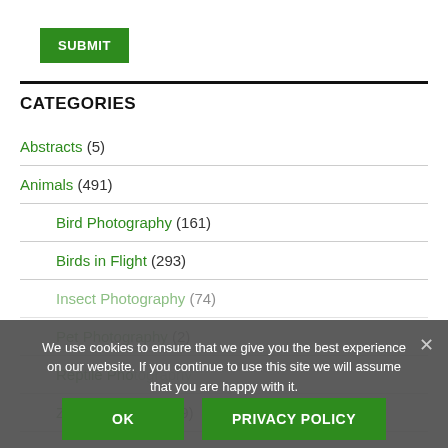SUBMIT
CATEGORIES
Abstracts (5)
Animals (491)
Bird Photography (161)
Birds in Flight (293)
Insect Photography (74)
Pet Photography (2)
Reptile Photography
Zoo Photography (9)
We use cookies to ensure that we give you the best experience on our website. If you continue to use this site we will assume that you are happy with it.
OK
PRIVACY POLICY